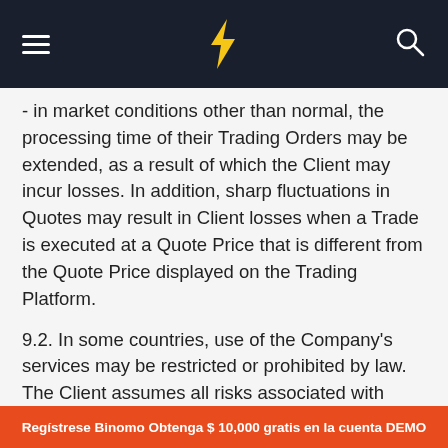Binomo navigation bar with hamburger menu, logo, and search icon
- in market conditions other than normal, the processing time of their Trading Orders may be extended, as a result of which the Client may incur losses. In addition, sharp fluctuations in Quotes may result in Client losses when a Trade is executed at a Quote Price that is different from the Quote Price displayed on the Trading Platform.
9.2. In some countries, use of the Company's services may be restricted or prohibited by law. The Client assumes all risks associated with analysis of the legislation of their country, or their country of residence, for such restrictions or prohibitions, as well as responsibility for using the services of the Company in countries where they are restricted or prohibited.
Regístrese Binomo Obtenga $ 10,000 gratis en la cuenta DEMO